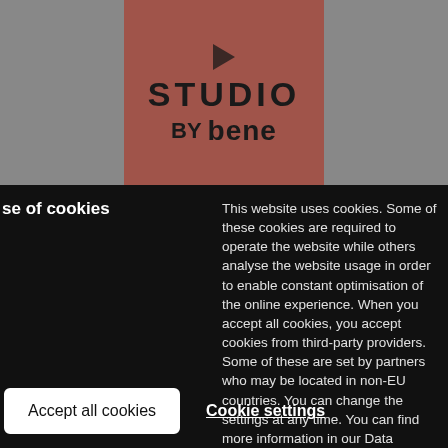[Figure (logo): Studio by Bene logo on a terracotta/brownish-red background with play button icon, shown on a grey background]
se of cookies
This website uses cookies. Some of these cookies are required to operate the website while others analyse the website usage in order to enable constant optimisation of the online experience. When you accept all cookies, you accept cookies from third-party providers. Some of these are set by partners who may be located in non-EU countries. You can change the settings at any time. You can find more information in our Data Protection Declaration.
Accept all cookies
Cookie settings